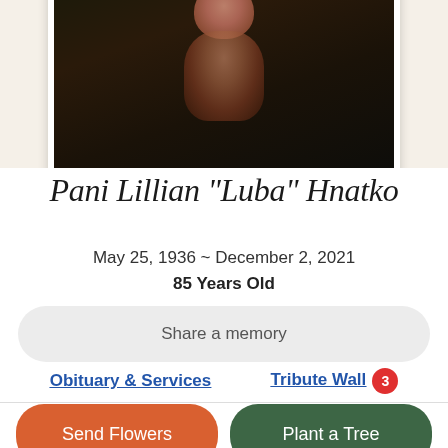[Figure (photo): Portrait photo of Pani Lillian Hnatko in a white-bordered frame against a beige background, dark image showing face and upper body]
Pani Lillian "Luba" Hnatko
May 25, 1936 ~ December 2, 2021
85 Years Old
Share a memory
Obituary & Services
Tribute Wall 3
Send Flowers
Plant a Tree